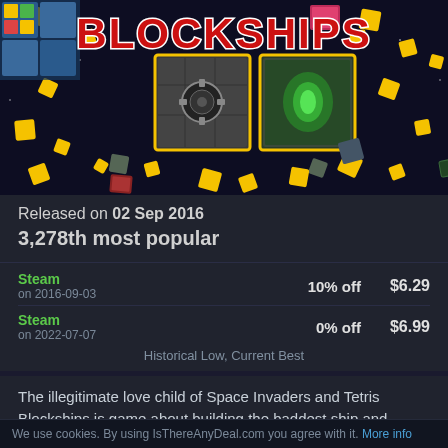[Figure (screenshot): Blockships game banner — colorful pixel art space game with yellow block pieces scattered, game logo 'BLOCKSHIPS' in large red bold text with white outline, dark space background with two large block-ship modules visible in center]
Released on 02 Sep 2016
3,278th most popular
Steam
on 2016-09-03	10% off	$6.29
Steam
on 2022-07-07	0% off	$6.99
Historical Low, Current Best
The illegitimate love child of Space Invaders and Tetris Blockships is game about building the baddest ship and blasting your buddies - local multiplayer party game where you strike a balance between speed, firepower, and size.
We use cookies. By using IsThereAnyDeal.com you agree with it. More info